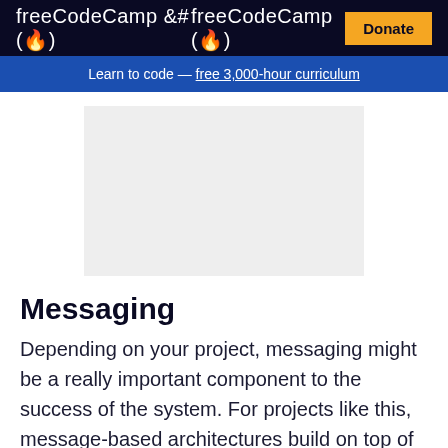freeCodeCamp (🔥)
Learn to code — free 3,000-hour curriculum
[Figure (other): Gray placeholder advertisement or image block]
Messaging
Depending on your project, messaging might be a really important component to the success of the system. For projects like this, message-based architectures build on top of functional